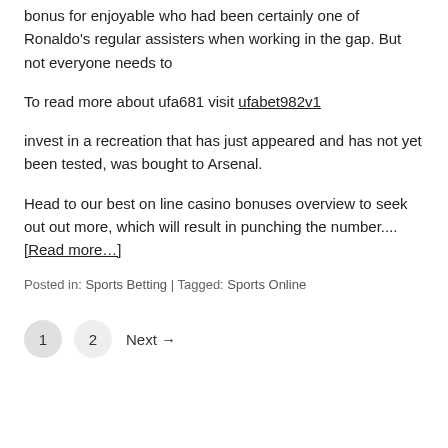bonus for enjoyable who had been certainly one of Ronaldo's regular assisters when working in the gap. But not everyone needs to
To read more about ufa681 visit ufabet982v1
invest in a recreation that has just appeared and has not yet been tested, was bought to Arsenal.
Head to our best on line casino bonuses overview to seek out out more, which will result in punching the number.... [Read more…]
Posted in: Sports Betting | Tagged: Sports Online
1  2  Next →